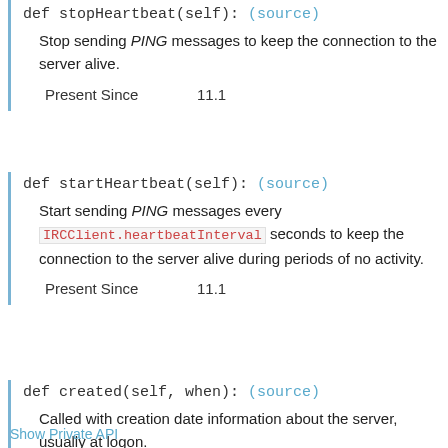def stopHeartbeat(self): (source)
Stop sending PING messages to keep the connection to the server alive.
| Present Since | 11.1 |
| --- | --- |
def startHeartbeat(self): (source)
Start sending PING messages every IRCClient.heartbeatInterval seconds to keep the connection to the server alive during periods of no activity.
| Present Since | 11.1 |
| --- | --- |
def created(self, when): (source)
Called with creation date information about the server, usually at logon.
Show Private API